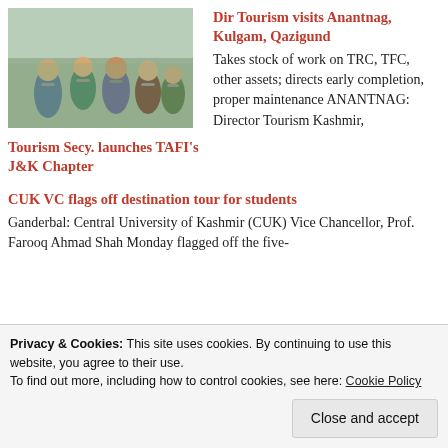[Figure (photo): Group of people wearing face masks outdoors]
Tourism Secy. launches TAFI's J&K Chapter
Dir Tourism visits Anantnag, Kulgam, Qazigund
Takes stock of work on TRC, TFC, other assets; directs early completion, proper maintenance ANANTNAG: Director Tourism Kashmir,
CUK VC flags off destination tour for students
Ganderbal: Central University of Kashmir (CUK) Vice Chancellor, Prof. Farooq Ahmad Shah Monday flagged off the five-
Privacy & Cookies: This site uses cookies. By continuing to use this website, you agree to their use.
To find out more, including how to control cookies, see here: Cookie Policy